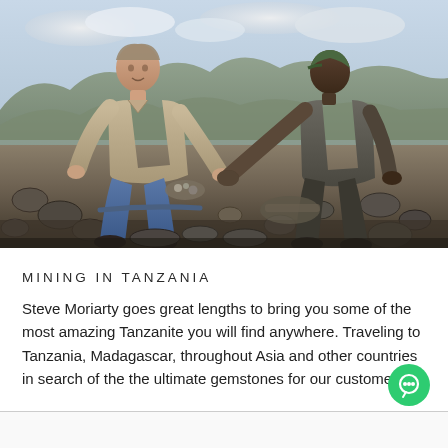[Figure (photo): Outdoor mining scene in Tanzania. A white man in a khaki short-sleeve shirt and blue jeans crouches on rocky ground examining small stones or gems. Beside him, a dark-skinned man in grey clothing crouches and holds out his hand. Rocky terrain and cloudy sky in background.]
MINING IN TANZANIA
Steve Moriarty goes great lengths to bring you some of the most amazing Tanzanite you will find anywhere. Traveling to Tanzania, Madagascar, throughout Asia and other countries in search of the the ultimate gemstones for our customers.